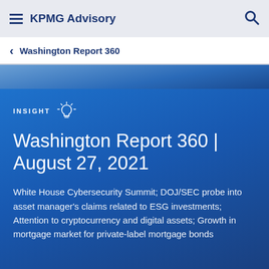KPMG Advisory
Washington Report 360
Washington Report 360 | August 27, 2021
White House Cybersecurity Summit; DOJ/SEC probe into asset manager's claims related to ESG investments; Attention to cryptocurrency and digital assets; Growth in mortgage market for private-label mortgage bonds